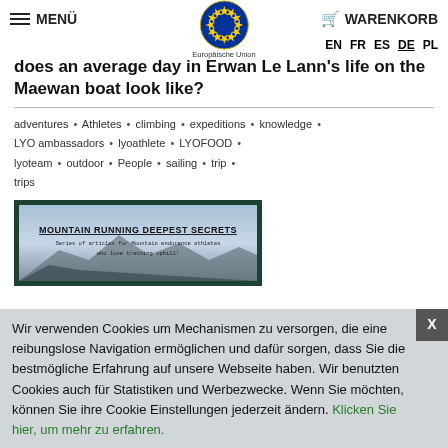MENÜ  [EU logo] Europäische Union  EN FR ES DE PL  WARENKORB
does an average day in Erwan Le Lann's life on the Maewan boat look like?
adventures • Athletes • climbing • expeditions • knowledge • LYO ambassadors • lyoathlete • LYOFOOD • lyoteam • outdoor • People • sailing • trip • trips
[Figure (illustration): Dark green framed image with mountain and sky background. Text overlay reads: MOUNTAIN RUNNING DEEPEST SECRETS - Series of articles for Mountain endurance athletes who love training uphill!]
Wir verwenden Cookies um Mechanismen zu versorgen, die eine reibungslose Navigation ermöglichen und dafür sorgen, dass Sie die bestmögliche Erfahrung auf unsere Webseite haben. Wir benutzten Cookies auch für Statistiken und Werbezwecke. Wenn Sie möchten, können Sie ihre Cookie Einstellungen jederzeit ändern. Klicken Sie hier, um mehr zu erfahren.